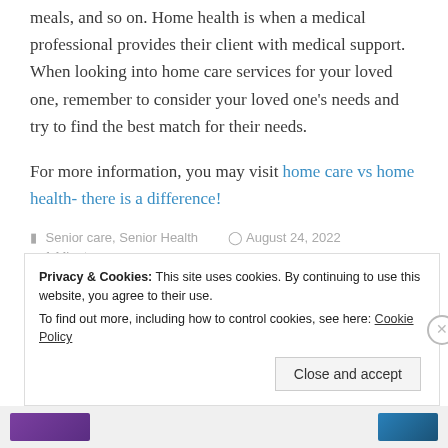meals, and so on. Home health is when a medical professional provides their client with medical support. When looking into home care services for your loved one, remember to consider your loved one's needs and try to find the best match for their needs.
For more information, you may visit home care vs home health- there is a difference!
Senior care, Senior Health   August 24, 2022   1 Minute
Privacy & Cookies: This site uses cookies. By continuing to use this website, you agree to their use. To find out more, including how to control cookies, see here: Cookie Policy